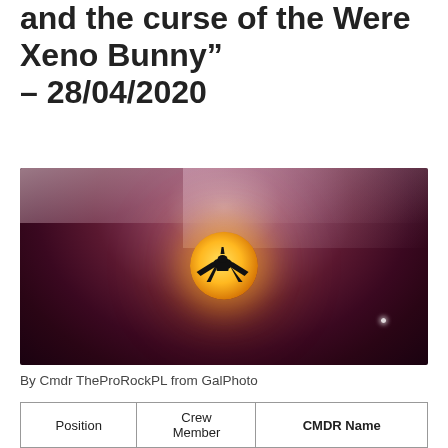and the curse of the Were Xeno Bunny" – 28/04/2020
[Figure (photo): A spaceship silhouette against a glowing orange moon in a dark purple-red atmospheric sky with clouds]
By Cmdr TheProRockPL from GalPhoto
| Position | Crew Member | CMDR Name |
| --- | --- | --- |